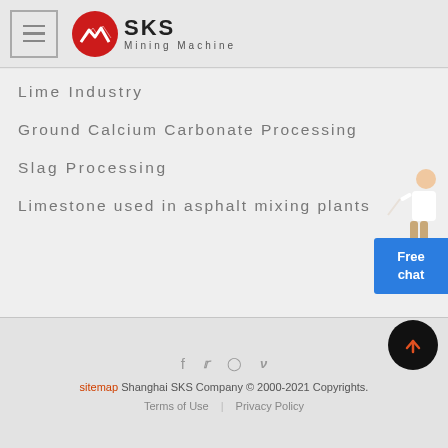SKS Mining Machine
Lime Industry
Ground Calcium Carbonate Processing
Slag Processing
Limestone used in asphalt mixing plants
sitemap Shanghai SKS Company © 2000-2021 Copyrights. | Terms of Use | Privacy Policy